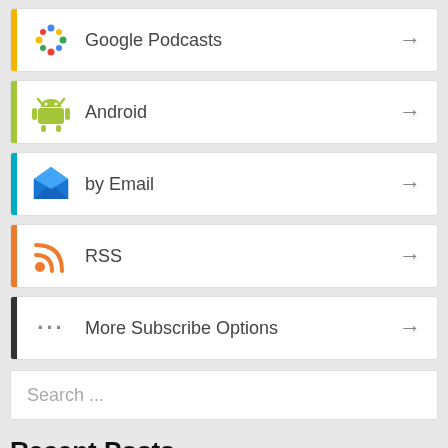Google Podcasts
Android
by Email
RSS
More Subscribe Options
Search ...
Recent Posts